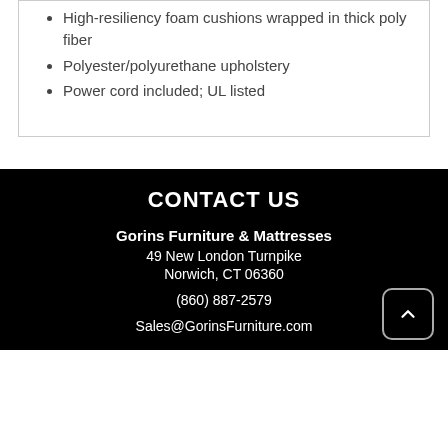High-resiliency foam cushions wrapped in thick poly fiber
Polyester/polyurethane upholstery
Power cord included; UL listed
CONTACT US
Gorins Furniture & Mattresses
49 New London Turnpike
Norwich, CT 06360
(860) 887-2579
Sales@GorinsFurniture.com